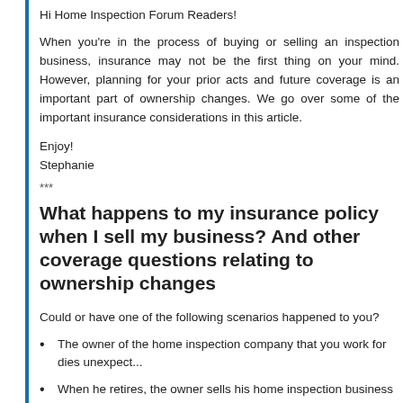Hi Home Inspection Forum Readers!
When you're in the process of buying or selling an inspection business, insurance may not be the first thing on your mind. However, planning for your prior acts and future coverage is an important part of ownership changes. We go over some of the important insurance considerations in this article.
Enjoy!
Stephanie
***
What happens to my insurance policy when I sell my business? And other coverage questions relating to ownership changes
Could or have one of the following scenarios happened to you?
The owner of the home inspection company that you work for dies unexpect...
When he retires, the owner sells his home inspection business to you, his em...
To get into the business, you buy the name of a prominent home inspection ...